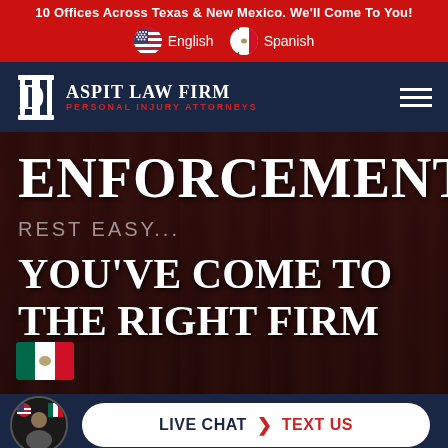10 Offices Across Texas & New Mexico. We'll Come To You!
English  Spanish
[Figure (logo): Daspit Law Firm logo with pillar icon and text 'DASPIT LAW FIRM - PERSONAL INJURY ATTORNEYS' on navy background]
ENFORCEMENT
REST EASY...
YOU'VE COME TO THE RIGHT FIRM
[Figure (illustration): Mexican flag icon in bottom left of hero image]
LIVE CHAT  ❯  TEXT US